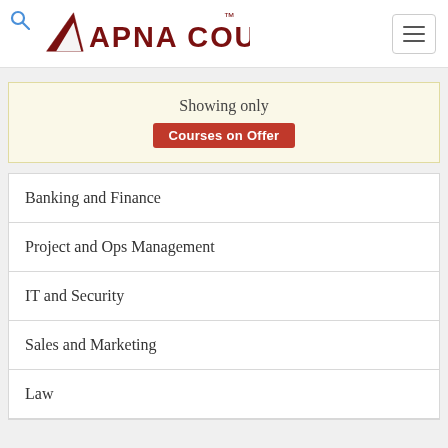Apna Course
Showing only
Courses on Offer
Banking and Finance
Project and Ops Management
IT and Security
Sales and Marketing
Law